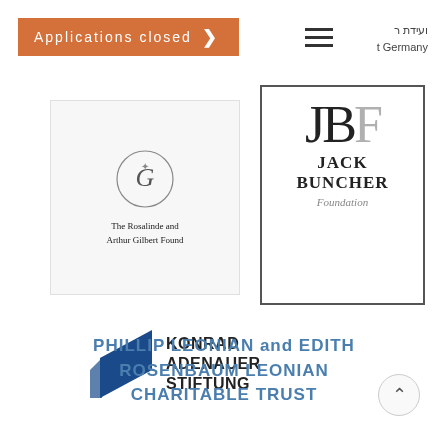[Figure (logo): Orange banner with text 'Applications closed' and right-pointing chevron arrow]
[Figure (logo): Hamburger menu icon (three horizontal lines)]
ועידת ר
t Germany
[Figure (logo): The Rosalinde and Arthur Gilbert Foundation logo with decorative emblem and text]
[Figure (logo): Jack Buncher Foundation logo with letters JBF in a bordered box]
[Figure (logo): Konrad Adenauer Stiftung logo with blue geometric shape and bold text]
PHILLIP LEONIAN and EDITH ROSENBAUM LEONIAN CHARITABLE TRUST